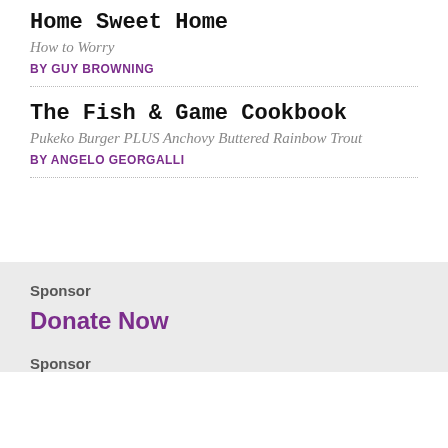Home Sweet Home
How to Worry
BY GUY BROWNING
The Fish & Game Cookbook
Pukeko Burger PLUS Anchovy Buttered Rainbow Trout
BY ANGELO GEORGALLI
Sponsor
Donate Now
Sponsor